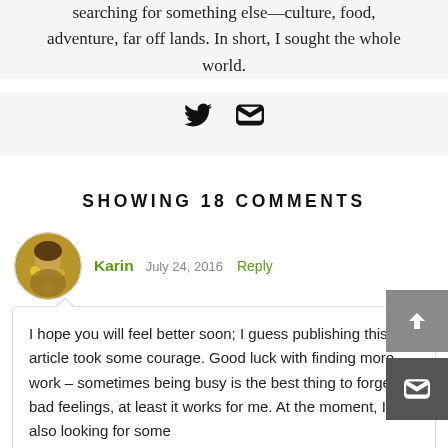searching for something else—culture, food, adventure, far off lands. In short, I sought the whole world.
[Figure (other): Social media icons: Twitter bird and email envelope]
SHOWING 18 COMMENTS
[Figure (photo): Circular avatar photo of commenter Karin, showing a person with yellow flowers]
Karin   July 24, 2016   Reply
I hope you will feel better soon; I guess publishing this article took some courage. Good luck with finding more work – sometimes being busy is the best thing to forget bad feelings, at least it works for me. At the moment, I´m also looking for some